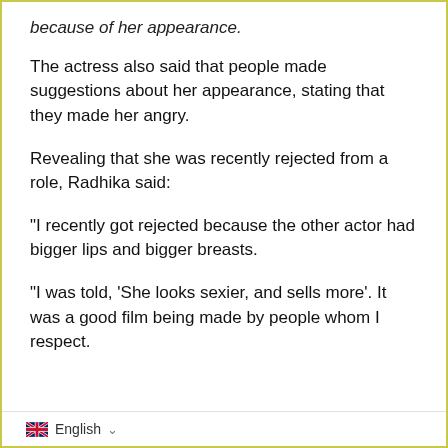because of her appearance.
The actress also said that people made suggestions about her appearance, stating that they made her angry.
Revealing that she was recently rejected from a role, Radhika said:
"I recently got rejected because the other actor had bigger lips and bigger breasts.
"I was told, 'She looks sexier, and sells more'. It was a good film being made by people whom I respect.
English